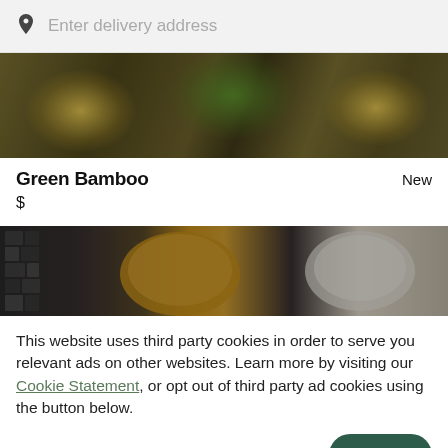Enter delivery address
[Figure (photo): Food photo showing dishes with greens and garnishes on a white surface, dimly lit]
Green Bamboo
New
$
[Figure (photo): Food photo showing a bowl of soup with mosaic tile background, dimly lit]
This website uses third party cookies in order to serve you relevant ads on other websites. Learn more by visiting our Cookie Statement, or opt out of third party ad cookies using the button below.
OPT OUT
GOT IT